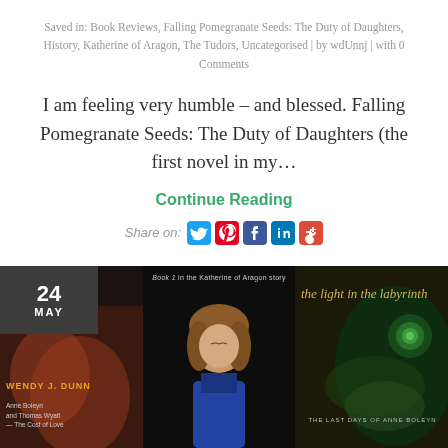Saved in: Book Reviews, Falling Pomegranate Seeds: The Duty of Daughters, History, Katherine of Aragon, The Tudors, Uncategorised | by wdUnnj | with 0 Comments
I am feeling very humble – and blessed. Falling Pomegranate Seeds: The Duty of Daughters (the first novel in my…
Continue Reading
Share on:
[Figure (photo): Book cover image on dark background with author name WENDY J. DUNN and subtitle Anne Boleyn and Thomas Wyatt — The Cost of Love, with date badge showing 24 MAY]
[Figure (photo): Book 1 in the Katherine of Aragon story — cover showing a Renaissance painting of a young woman with downcast eyes]
[Figure (photo): Book cover: the light in the labyrinth — THE LAST DAYS OF ANNE BOLEYN, dark background with peacock feather design]